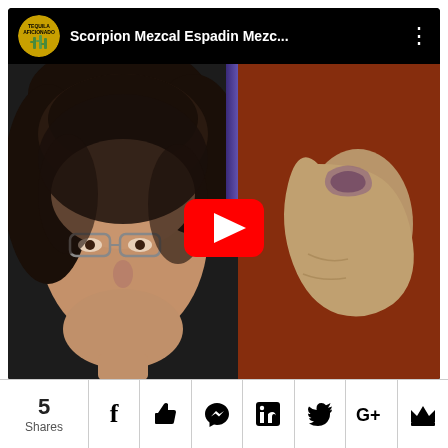[Figure (screenshot): YouTube video embed showing 'Scorpion Mezcal Espadin Mezc...' by Tequila Aficionado channel. Thumbnail shows a split screen: left side has a man's face with glasses and dark hair, right side shows a hand holding something against a reddish-brown background. A YouTube play button is centered over the thumbnail.]
5 Shares